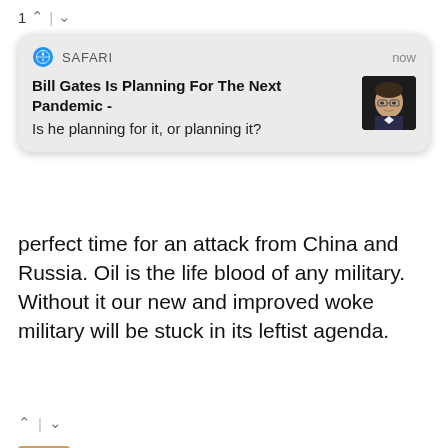1 ^ | v
[Figure (screenshot): Safari browser push notification card showing headline 'Bill Gates Is Planning For The Next Pandemic -' with subtext 'Is he planning for it, or planning it?' and a thumbnail photo of Bill Gates. Timestamp shows 'now'.]
perfect time for an attack from China and Russia. Oil is the life blood of any military. Without it our new and improved woke military will be stuck in its leftist agenda.
^ | v
Charli
5 months ago
Obama did this too, depleting America's oil reserves to